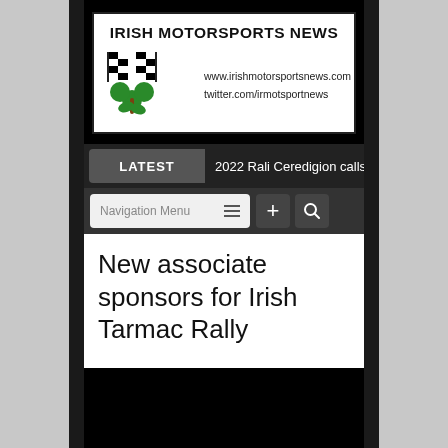[Figure (logo): Irish Motorsports News logo with checkered flags and shamrock, website and twitter URLs]
LATEST   2022 Rali Ceredigion calls as B…
Navigation Menu
New associate sponsors for Irish Tarmac Rally